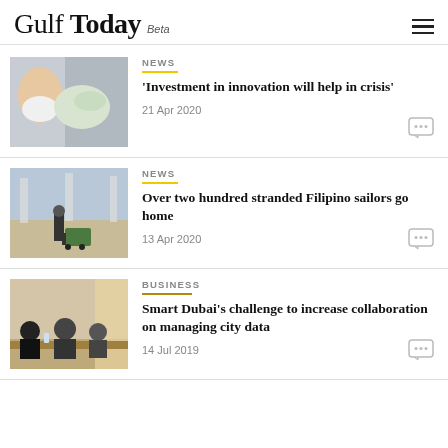Gulf Today Beta
NEWS | 'Investment in innovation will help in crisis' | 21 Apr 2020
NEWS | Over two hundred stranded Filipino sailors go home | 13 Apr 2020
BUSINESS | Smart Dubai's challenge to increase collaboration on managing city data | 14 Jul 2019